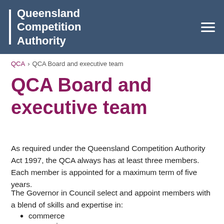Queensland Competition Authority
QCA › QCA Board and executive team
QCA Board and executive team
As required under the Queensland Competition Authority Act 1997, the QCA always has at least three members. Each member is appointed for a maximum term of five years.
The Governor in Council select and appoint members with a blend of skills and expertise in:
commerce
economics